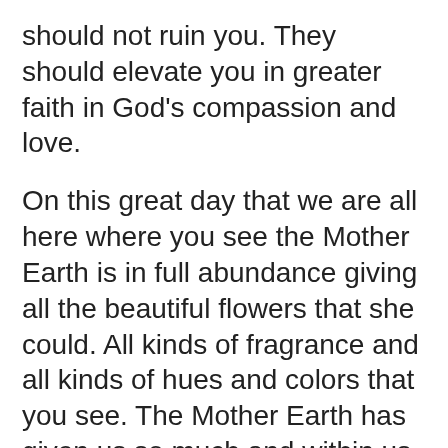should not ruin you. They should elevate you in greater faith in God's compassion and love.
On this great day that we are all here where you see the Mother Earth is in full abundance giving all the beautiful flowers that she could. All kinds of fragrance and all kinds of hues and colors that you see. The Mother Earth has given us so much and within us Mother Earth is represented as the Kundalini and she has given us so much also within us. So as Sahaja Yogis we should be blooming beautifully with our fragrance and with our joy.
Sahaja Yogis are always very happy people. Very joyous. They stand out by their beautiful expressions anywhere you go. They are very beautiful people, no doubt, and this is going to convince, this is going to convince others that Sahaja Yoga is a great thing.